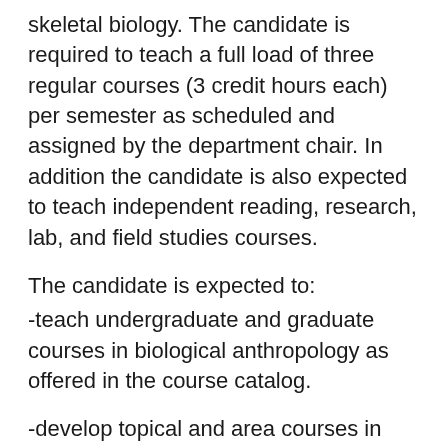skeletal biology. The candidate is required to teach a full load of three regular courses (3 credit hours each) per semester as scheduled and assigned by the department chair. In addition the candidate is also expected to teach independent reading, research, lab, and field studies courses.
The candidate is expected to:
-teach undergraduate and graduate courses in biological anthropology as offered in the course catalog.
-develop topical and area courses in their field of expertise at the undergraduate and graduate levels, including courses which have an applied dimension.
-mentor and advise undergraduate and